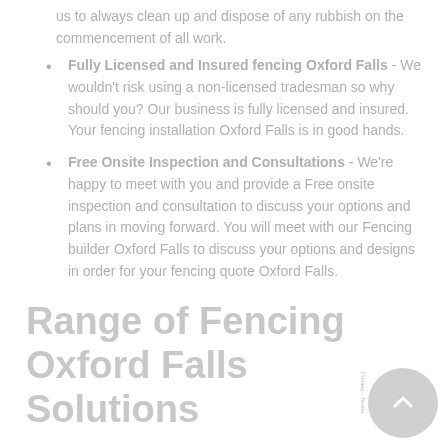us to always clean up and dispose of any rubbish on the commencement of all work.
Fully Licensed and Insured fencing Oxford Falls - We wouldn't risk using a non-licensed tradesman so why should you? Our business is fully licensed and insured. Your fencing installation Oxford Falls is in good hands.
Free Onsite Inspection and Consultations - We're happy to meet with you and provide a Free onsite inspection and consultation to discuss your options and plans in moving forward. You will meet with our Fencing builder Oxford Falls to discuss your options and designs in order for your fencing quote Oxford Falls.
Range of Fencing Oxford Falls Solutions
Angelo's Local Fencing has over 12 Years' Experience and licensed and trained in all the below fencing type: